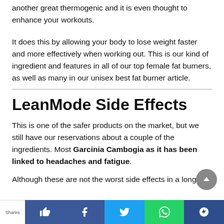another great thermogenic and it is even thought to enhance your workouts.
It does this by allowing your body to lose weight faster and more effectively when working out. This is our kind of ingredient and features in all of our top female fat burners, as well as many in our unisex best fat burner article.
LeanMode Side Effects
This is one of the safer products on the market, but we still have our reservations about a couple of the ingredients. Most Garcinia Cambogia as it has been linked to headaches and fatigue.
Although these are not the worst side effects in a long ...